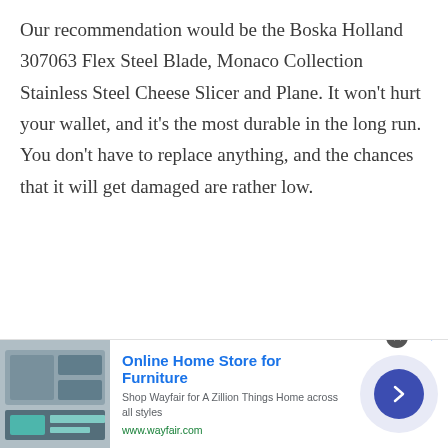Our recommendation would be the Boska Holland 307063 Flex Steel Blade, Monaco Collection Stainless Steel Cheese Slicer and Plane. It won't hurt your wallet, and it's the most durable in the long run. You don't have to replace anything, and the chances that it will get damaged are rather low.
[Figure (screenshot): Advertisement banner for Wayfair Online Home Store for Furniture with product image, title 'Online Home Store for Furniture', description 'Shop Wayfair for A Zillion Things Home across all styles', URL www.wayfair.com, a circular arrow button, and a close button.]